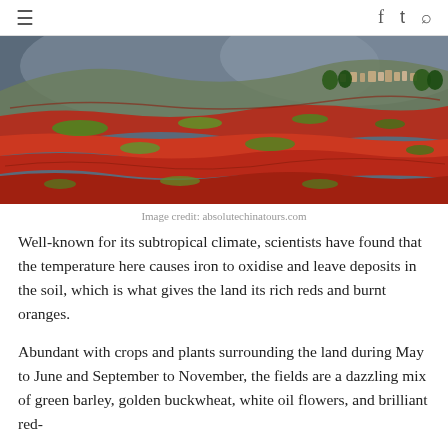≡  f  🐦  🔍
[Figure (photo): Aerial photograph of terraced red soil farmlands with green crop patches, typical of the Dongchuan Red Land in Yunnan, China. Dramatic red and orange earthen terraces with green vegetation contrast against blue-grey mountains in the background.]
Image credit: absolutechinatours.com
Well-known for its subtropical climate, scientists have found that the temperature here causes iron to oxidise and leave deposits in the soil, which is what gives the land its rich reds and burnt oranges.
Abundant with crops and plants surrounding the land during May to June and September to November, the fields are a dazzling mix of green barley, golden buckwheat, white oil flowers, and brilliant red-